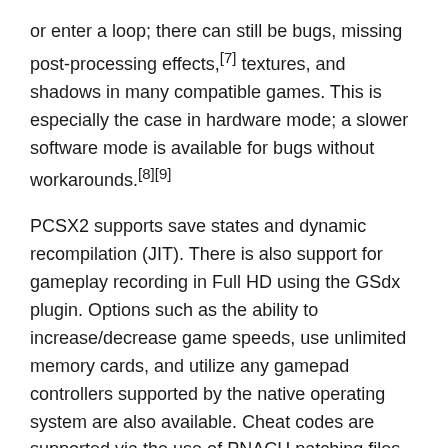or enter a loop; there can still be bugs, missing post-processing effects,[7] textures, and shadows in many compatible games. This is especially the case in hardware mode; a slower software mode is available for bugs without workarounds.[8][9]
PCSX2 supports save states and dynamic recompilation (JIT). There is also support for gameplay recording in Full HD using the GSdx plugin. Options such as the ability to increase/decrease game speeds, use unlimited memory cards, and utilize any gamepad controllers supported by the native operating system are also available. Cheat codes are supported via the use of PNACH patching files.
Technical Details
Main Category: Gaming Software   App Version: Latest version
Update Time 2019-12-12